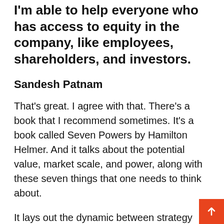I'm able to help everyone who has access to equity in the company, like employees, shareholders, and investors.
Sandesh Patnam
That's great. I agree with that. There's a book that I recommend sometimes. It's a book called Seven Powers by Hamilton Helmer. And it talks about the potential value, market scale, and power, along with these seven things that one needs to think about.
It lays out the dynamic between strategy and power and how you can continue to think about potential value. It's a book that is interesting.